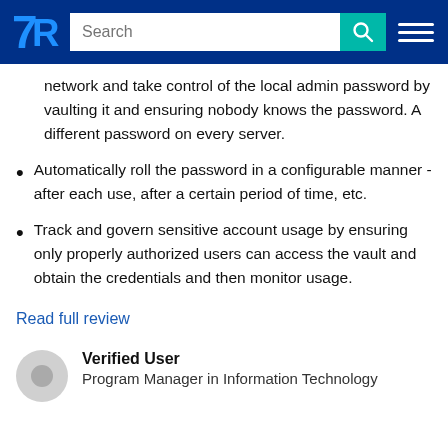TrustRadius navigation bar with logo, search, and menu
network and take control of the local admin password by vaulting it and ensuring nobody knows the password. A different password on every server.
Automatically roll the password in a configurable manner - after each use, after a certain period of time, etc.
Track and govern sensitive account usage by ensuring only properly authorized users can access the vault and obtain the credentials and then monitor usage.
Read full review
Verified User
Program Manager in Information Technology